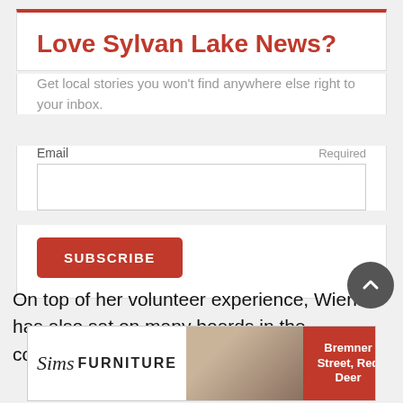Love Sylvan Lake News?
Get local stories you won't find anywhere else right to your inbox.
Email   Required
SUBSCRIBE
On top of her volunteer experience, Wiens has also sat on many boards in the communities she has lived in. She has
[Figure (other): Sims Furniture advertisement banner with logo, couch photo, and address text reading Bremner Street, Red Deer]